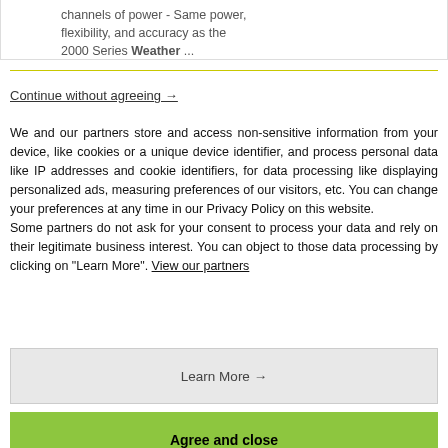channels of power - Same power, flexibility, and accuracy as the 2000 Series Weather ...
Continue without agreeing →
We and our partners store and access non-sensitive information from your device, like cookies or a unique device identifier, and process personal data like IP addresses and cookie identifiers, for data processing like displaying personalized ads, measuring preferences of our visitors, etc. You can change your preferences at any time in our Privacy Policy on this website.
Some partners do not ask for your consent to process your data and rely on their legitimate business interest. You can object to those data processing by clicking on "Learn More". View our partners
Learn More →
Agree and close